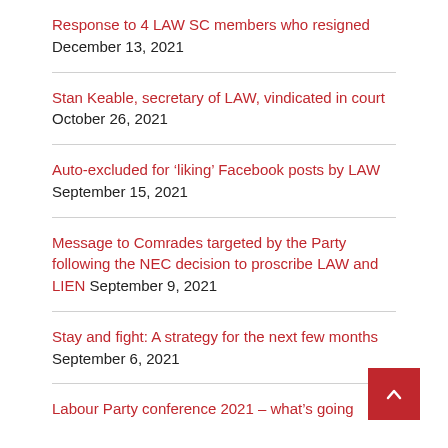Response to 4 LAW SC members who resigned December 13, 2021
Stan Keable, secretary of LAW, vindicated in court October 26, 2021
Auto-excluded for 'liking' Facebook posts by LAW September 15, 2021
Message to Comrades targeted by the Party following the NEC decision to proscribe LAW and LIEN September 9, 2021
Stay and fight: A strategy for the next few months September 6, 2021
Labour Party conference 2021 – what's going on September 20, 2021